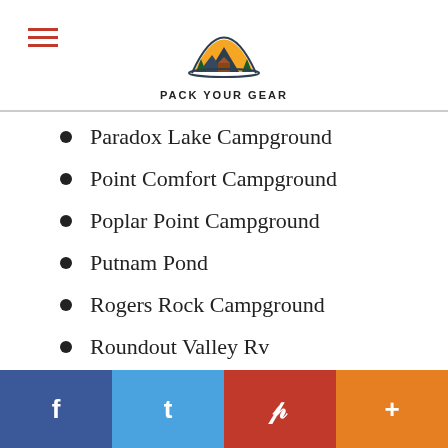Pack Your Gear logo and navigation
Paradox Lake Campground
Point Comfort Campground
Poplar Point Campground
Putnam Pond
Rogers Rock Campground
Roundout Valley Rv
Sacandaga Campground
Saugerties Woodstock KOA
f  t  P  +